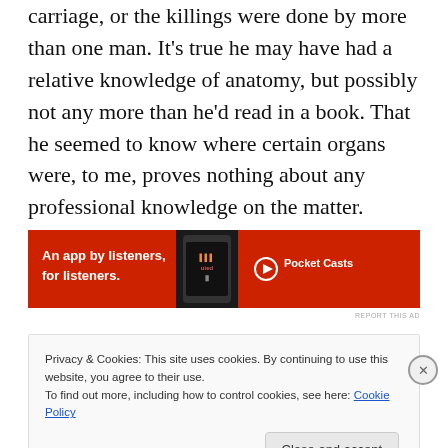carriage, or the killings were done by more than one man. It's true he may have had a relative knowledge of anatomy, but possibly not any more than he'd read in a book. That he seemed to know where certain organs were, to me, proves nothing about any professional knowledge on the matter.
[Figure (other): Red advertisement banner for Pocket Casts app with text 'An app by listeners, for listeners.' and a smartphone image with the Pocket Casts logo.]
REPORT THIS AD
Privacy & Cookies: This site uses cookies. By continuing to use this website, you agree to their use. To find out more, including how to control cookies, see here: Cookie Policy